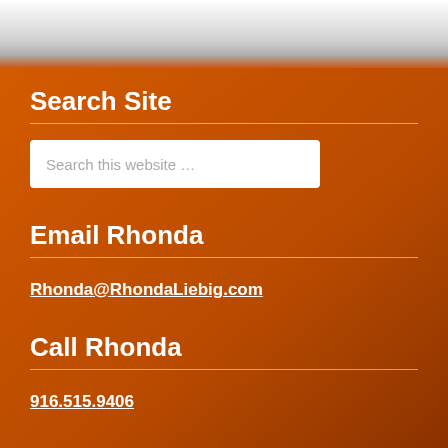Search Site
Search this website …
Email Rhonda
Rhonda@RhondaLiebig.com
Call Rhonda
916.515.9406